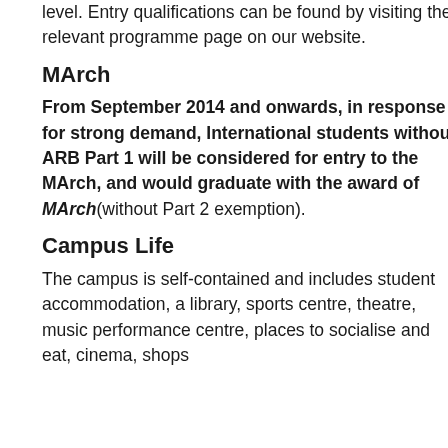level. Entry qualifications can be found by visiting the relevant programme page on our website.
MArch
From September 2014 and onwards, in response for strong demand, International students without ARB Part 1 will be considered for entry to the MArch, and would graduate with the award of MArch(without Part 2 exemption).
Campus Life
The campus is self-contained and includes student accommodation, a library, sports centre, theatre, music performance centre, places to socialise and eat, cinema, shops